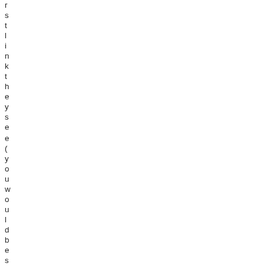r
s
t
l
i
n
k
t
h
e
y
s
e
e
(
y
o
u
w
o
u
l
d
b
e
s
u
r
p